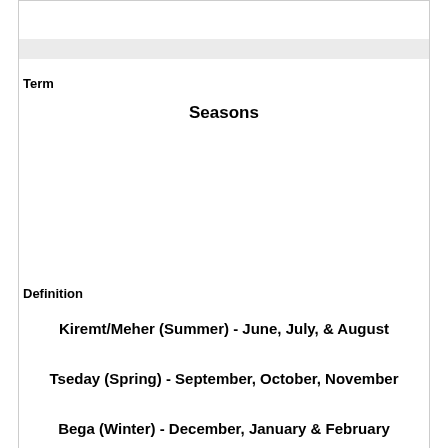| Term | Seasons | Definition |
| --- | --- | --- |
| Kiremt/Meher (Summer) - June, July, & August |
| Tseday (Spring) - September, October, November |
| Bega (Winter) - December, January & February |
| Belg (Autumn) - March, April, & May |